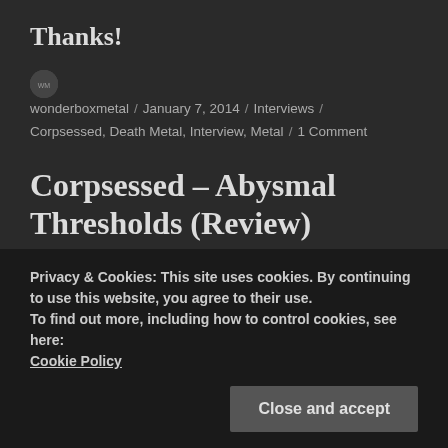Thanks!
wonderboxmetal / January 7, 2014 / Interviews / Corpsessed, Death Metal, Interview, Metal / 1 Comment
Corpsessed – Abysmal Thresholds (Review)
After
[Figure (photo): Dark monochrome image, appears to be album artwork or band photo with shadowy figures]
Privacy & Cookies: This site uses cookies. By continuing to use this website, you agree to their use.
To find out more, including how to control cookies, see here:
Cookie Policy
Close and accept
Finnis